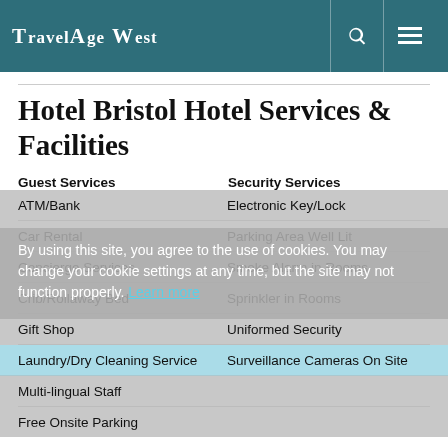TravelAge West
Hotel Bristol Hotel Services & Facilities
Guest Services
Security Services
ATM/Bank | Electronic Key/Lock
Car Rental | Parking Area Well Lit
Concierge Services | Smoke Alarm in Rooms
Crib/Rollaway Bed | Sprinkler in Rooms
Gift Shop | Uniformed Security
Laundry/Dry Cleaning Service | Surveillance Cameras On Site
Multi-lingual Staff
Free Onsite Parking
By using this site, you agree to the use of cookies. You may change your cookie settings at any time, but the site may not function properly. Learn more